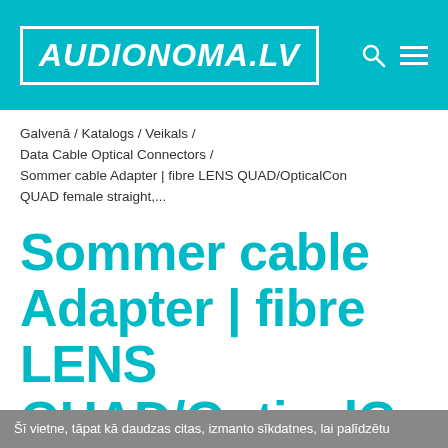AUDIONOMA.LV
Galvenā / Katalogs / Veikals / Data Cable Optical Connectors / Sommer cable Adapter | fibre LENS QUAD/OpticalCon QUAD female straight,...
Sommer cable Adapter | fibre LENS QUAD/OpticalCon QUAD female
Šī vietne, tāpat kā daudzas citas, izmanto sīkdatnes, lai palīdzētu